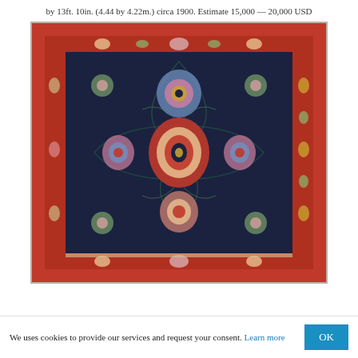by 13ft. 10in. (4.44 by 4.22m.) circa 1900. Estimate 15,000 — 20,000 USD
[Figure (photo): Photograph of an antique Persian rug with dark navy blue field, floral medallion design, red border with floral and animal motifs, circa 1900.]
We uses cookies to provide our services and request your consent. Learn more